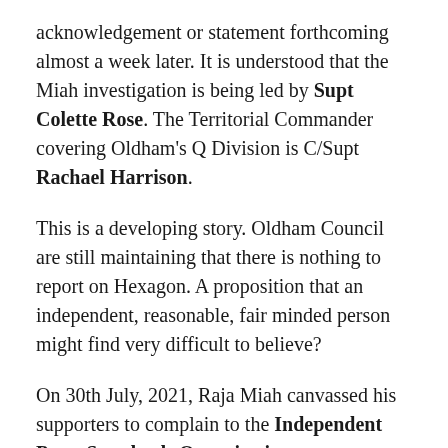acknowledgement or statement forthcoming almost a week later. It is understood that the Miah investigation is being led by Supt Colette Rose. The Territorial Commander covering Oldham's Q Division is C/Supt Rachael Harrison.
This is a developing story. Oldham Council are still maintaining that there is nothing to report on Hexagon. A proposition that an independent, reasonable, fair minded person might find very difficult to believe?
On 30th July, 2021, Raja Miah canvassed his supporters to complain to the Independent Press Standards Organisation over an Operation Hexagon headline in The Oldham Times that, in his view, was offensive. That has caused an issue with IPSO as it appears to clash with their regulatory framework (read here). They have written in contact to...